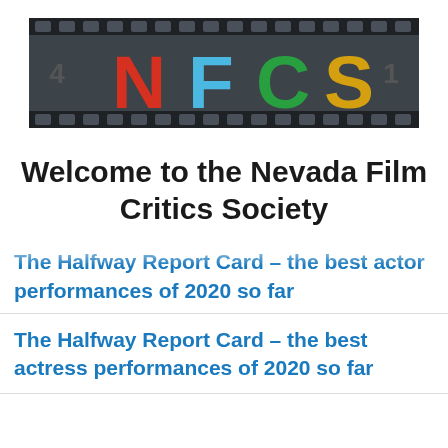[Figure (logo): NFCS logo banner with film strip style background. Letters N (red), F (light blue), C (green), S (yellow/gold) on dark slate background with film strip holes at top and bottom.]
Welcome to the Nevada Film Critics Society
The Halfway Report Card – the best actor performances of 2020 so far
The Halfway Report Card – the best actress performances of 2020 so far